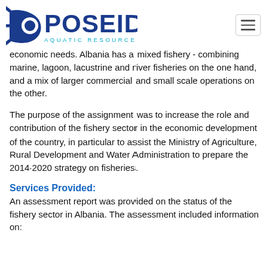POSEIDON AQUATIC RESOURCE MANAGEMENT
economic needs. Albania has a mixed fishery - combining marine, lagoon, lacustrine and river fisheries on the one hand, and a mix of larger commercial and small scale operations on the other.
The purpose of the assignment was to increase the role and contribution of the fishery sector in the economic development of the country, in particular to assist the Ministry of Agriculture, Rural Development and Water Administration to prepare the 2014-2020 strategy on fisheries.
Services Provided:
An assessment report was provided on the status of the fishery sector in Albania. The assessment included information on: